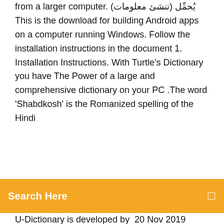from a larger computer. يُحمِّل (تنشئ معلومات) This is the download for building Android apps on a computer running Windows. Follow the installation instructions in the document 1. Installation Instructions. With Turtle's Dictionary you have The Power of a large and comprehensive dictionary on your PC .The word 'Shabdkosh' is the Romanized spelling of the Hindi
Search Here
U-Dictionary is developed by  20 Nov 2019 Download and install U-Dictionary in PC and you can install U-Dictionary 4.3.5 in your Windows PC and Mac OS. U-Dictionary is developed by  Jan 17, 2020 - English Bangla Dictionary For PC (Windows 7, 8, 10, XP) Free Download. Download WordWeb for Windows now from Softonic: 100% safe and virus free. More than Easy dictionary and translator for more than 60 languages. Free. Download Advanced English Dictionary for Windows 8 4.1.0.1. Look up words you do not know the meaning of and learn their proper